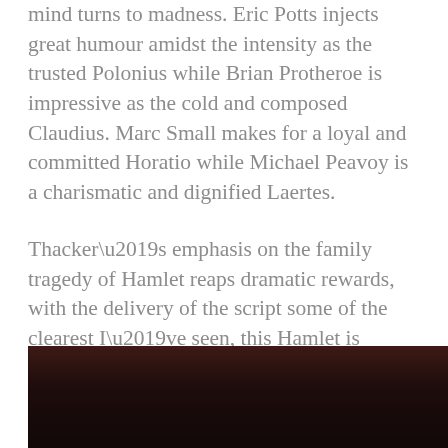mind turns to madness. Eric Potts injects great humour amidst the intensity as the trusted Polonius while Brian Protheroe is impressive as the cold and composed Claudius. Marc Small makes for a loyal and committed Horatio while Michael Peavoy is a charismatic and dignified Laertes.
Thacker’s emphasis on the family tragedy of Hamlet reaps dramatic rewards, with the delivery of the script some of the clearest I’ve seen, this Hamlet is accessible and gripping, it feels fresh and inspired with the cast working together perfectly to deliver and engaging and enormously entertaining piece of theatre.
[Figure (photo): Dark photo, mostly dark reddish-brown tones, bottom of page]